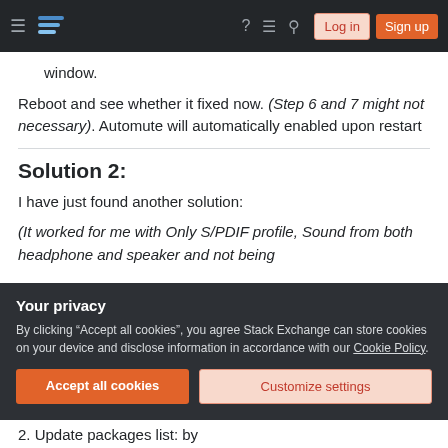Stack Exchange navigation bar with Log in and Sign up buttons
window.
Reboot and see whether it fixed now. (Step 6 and 7 might not necessary). Automute will automatically enabled upon restart
Solution 2:
I have just found another solution:
(It worked for me with Only S/PDIF profile, Sound from both headphone and speaker and not being
Your privacy
By clicking "Accept all cookies", you agree Stack Exchange can store cookies on your device and disclose information in accordance with our Cookie Policy.
Accept all cookies
Customize settings
2. Update packages list: by